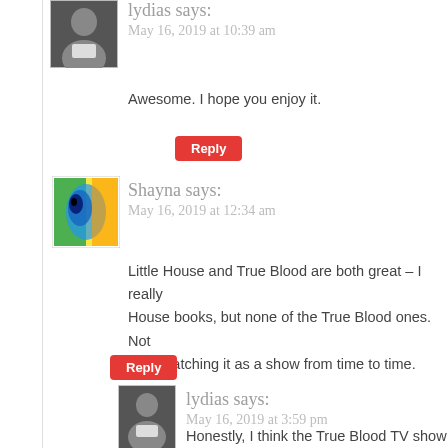[Figure (photo): Small avatar photo of lydias user (dark hair, holding something)]
lydias says:
May 16, 2019 at 10:39 am
Awesome. I hope you enjoy it.
Reply
[Figure (photo): Avatar image of Shayna with colorful abstract art]
Shayna says:
May 16, 2019 at 12:34 am
Little House and True Blood are both great – I really House books, but none of the True Blood ones. Not liked watching it as a show from time to time.
Reply
[Figure (photo): Small avatar photo of lydias user (dark hair)]
lydias says:
May 16, 2019 at 3:59 pm
Honestly, I think the True Blood TV show w
Reply
[Figure (logo): RacheLeanne avatar with circular logo/badge]
RacheLeanne says:
May 16, 2019 at 3:44 am